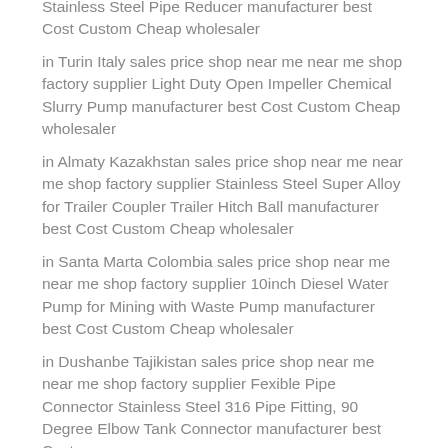Stainless Steel Pipe Reducer manufacturer best Cost Custom Cheap wholesaler
in Turin Italy sales price shop near me near me shop factory supplier Light Duty Open Impeller Chemical Slurry Pump manufacturer best Cost Custom Cheap wholesaler
in Almaty Kazakhstan sales price shop near me near me shop factory supplier Stainless Steel Super Alloy for Trailer Coupler Trailer Hitch Ball manufacturer best Cost Custom Cheap wholesaler
in Santa Marta Colombia sales price shop near me near me shop factory supplier 10inch Diesel Water Pump for Mining with Waste Pump manufacturer best Cost Custom Cheap wholesaler
in Dushanbe Tajikistan sales price shop near me near me shop factory supplier Fexible Pipe Connector Stainless Steel 316 Pipe Fitting, 90 Degree Elbow Tank Connector manufacturer best Cost